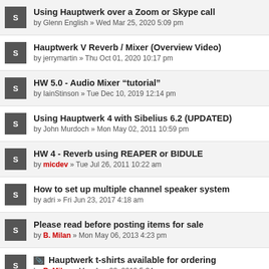Using Hauptwerk over a Zoom or Skype call by Glenn English » Wed Mar 25, 2020 5:09 pm
Hauptwerk V Reverb / Mixer (Overview Video) by jerrymartin » Thu Oct 01, 2020 10:17 pm
HW 5.0 - Audio Mixer “tutorial” by IainStinson » Tue Dec 10, 2019 12:14 pm
Using Hauptwerk 4 with Sibelius 6.2 (UPDATED) by John Murdoch » Mon May 02, 2011 10:59 pm
HW 4 - Reverb using REAPER or BIDULE by micdev » Tue Jul 26, 2011 10:22 am
How to set up multiple channel speaker system by adri » Fri Jun 23, 2017 4:18 am
Please read before posting items for sale by B. Milan » Mon May 06, 2013 4:23 pm
Hauptwerk t-shirts available for ordering by B. Milan » Mon Aug 02, 2010 5:34 pm
Latest CPU recommendations by Joseph Wicks » Fri Feb 11, 2022 8:11 am
Swell Shoes free for the shipping!